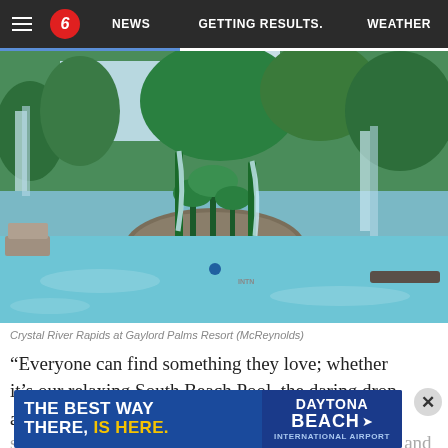NEWS   GETTING RESULTS.   WEATHER
[Figure (photo): Crystal River Rapids pool area at Gaylord Palms Resort, featuring tropical water features, rock island with waterfalls, palm trees, and turquoise pool water.]
Crystal River Rapids at Gaylord Palms Resort (McReynolds)
“Everyone can find something they love; whether it’s our relaxing South Beach Pool, the daring drop and racing
[Figure (infographic): Advertisement banner: THE BEST WAY THERE, IS HERE. DAYTONA BEACH INTERNATIONAL AIRPORT]
something for every member of the family to enjoy and the